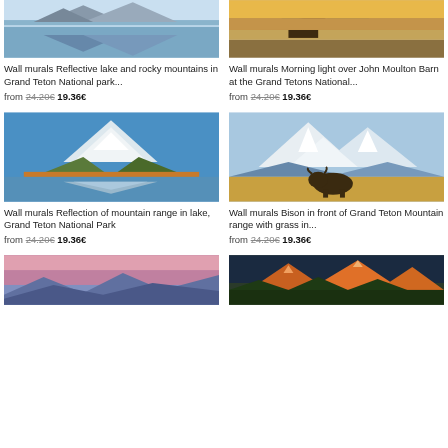[Figure (photo): Reflective lake and rocky mountains in Grand Teton National Park - top portion visible]
[Figure (photo): Morning light over John Moulton Barn at the Grand Tetons National Park - top portion visible]
Wall murals Reflective lake and rocky mountains in Grand Teton National park...
from 24.20€ 19.36€
Wall murals Morning light over John Moulton Barn at the Grand Tetons National...
from 24.20€ 19.36€
[Figure (photo): Reflection of mountain range in lake, Grand Teton National Park - autumn colors, blue sky]
[Figure (photo): Bison in front of Grand Teton Mountain range with grass in foreground, snow-capped peaks]
Wall murals Reflection of mountain range in lake, Grand Teton National Park
from 24.20€ 19.36€
Wall murals Bison in front of Grand Teton Mountain range with grass in...
from 24.20€ 19.36€
[Figure (photo): Mountain landscape at dusk/dawn - pink and purple sky, Grand Teton area]
[Figure (photo): Grand Teton mountain peaks lit by golden/orange light at sunrise or sunset with forest]